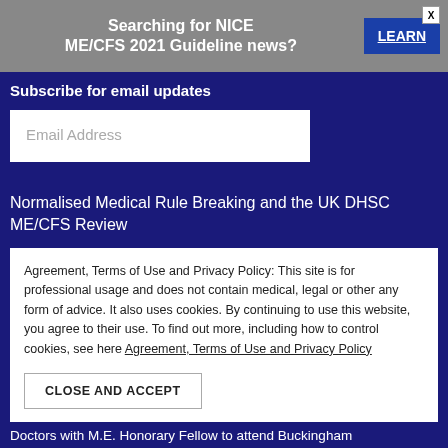[Figure (screenshot): Banner advertisement: 'Searching for NICE ME/CFS 2021 Guideline news?' with a blue LEARN button and X close button on grey background]
Subscribe for email updates
Email Address (placeholder in input field)
Normalised Medical Rule Breaking and the UK DHSC ME/CFS Review
Agreement, Terms of Use and Privacy Policy: This site is for professional usage and does not contain medical, legal or other any form of advice. It also uses cookies. By continuing to use this website, you agree to their use. To find out more, including how to control cookies, see here Agreement, Terms of Use and Privacy Policy
CLOSE AND ACCEPT
Doctors with M.E. Honorary Fellow to attend Buckingham